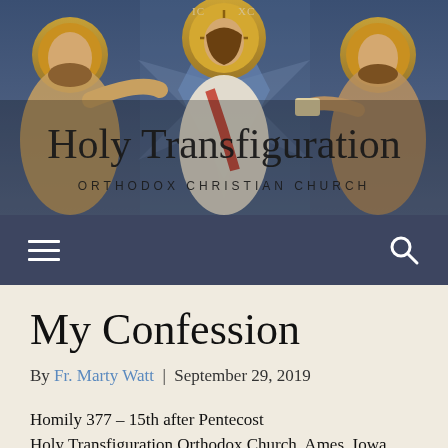[Figure (illustration): Byzantine-style icon mosaic showing the Transfiguration of Christ: Jesus Christ in the center with a halo and white robes, flanked by two figures (apostles or prophets) with halos, against a blue geometric background. Greek letters 'IC' and 'XC' visible above the central figure.]
Holy Transfiguration
ORTHODOX CHRISTIAN CHURCH
[Figure (screenshot): Dark navy navigation bar with a hamburger menu icon (three horizontal lines) on the left and a search (magnifying glass) icon on the right, both in white.]
My Confession
By Fr. Marty Watt | September 29, 2019
Homily 377 – 15th after Pentecost
Holy Transfiguration Orthodox Church, Ames, Iowa
September 29, 2019